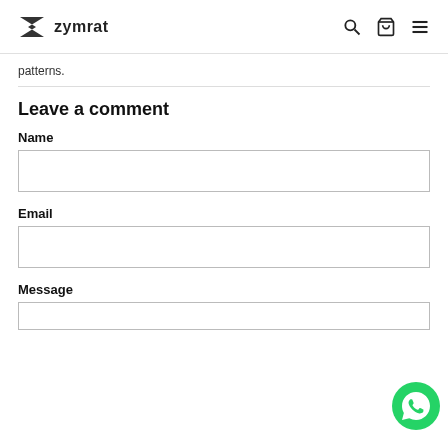zymrat
patterns.
Leave a comment
Name
Email
Message